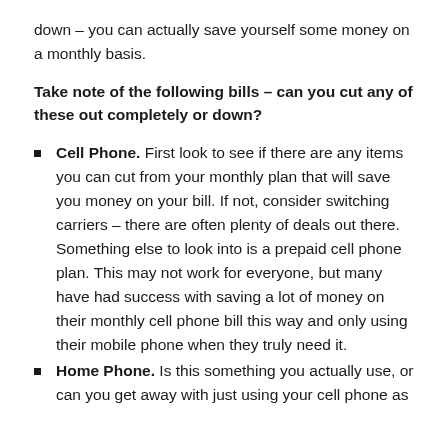down – you can actually save yourself some money on a monthly basis.
Take note of the following bills – can you cut any of these out completely or down?
Cell Phone. First look to see if there are any items you can cut from your monthly plan that will save you money on your bill. If not, consider switching carriers – there are often plenty of deals out there. Something else to look into is a prepaid cell phone plan. This may not work for everyone, but many have had success with saving a lot of money on their monthly cell phone bill this way and only using their mobile phone when they truly need it.
Home Phone. Is this something you actually use, or can you get away with just using your cell phone as